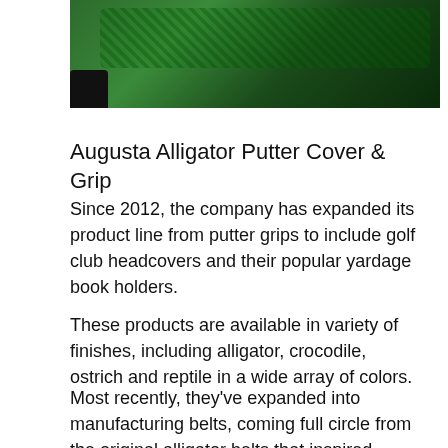[Figure (photo): A green alligator-texture putter cover and grip, shown diagonally with a black end cap visible at the bottom left.]
Augusta Alligator Putter Cover & Grip
Since 2012, the company has expanded its product line from putter grips to include golf club headcovers and their popular yardage book holders.
These products are available in variety of finishes, including alligator, crocodile, ostrich and reptile in a wide array of colors.
Most recently, they've expanded into manufacturing belts, coming full circle from the original alligator belts that inspired owner Daniel Pusilo to create Ace of Clubs. To celebrate the launch of their New Exotic Belt Line, the company is giving away three free belts to the MyGolfSpy community with no purchase